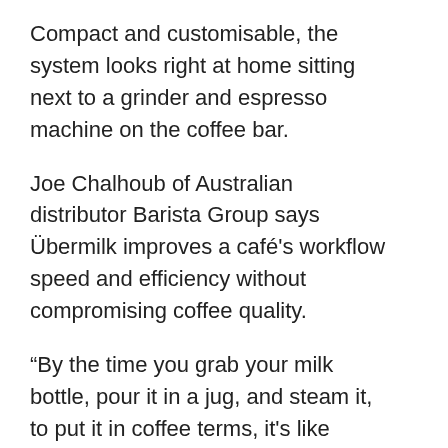Compact and customisable, the system looks right at home sitting next to a grinder and espresso machine on the coffee bar.
Joe Chalhoub of Australian distributor Barista Group says Übermilk improves a café's workflow speed and efficiency without compromising coffee quality.
“By the time you grab your milk bottle, pour it in a jug, and steam it, to put it in coffee terms, it’s like you’re dosing, tamping, and extracting it. Essentially, you’re spending the time it would take to make a second cup of coffee,” Joe says. “This is about 20 seconds per cup, which adds up over a day. Whereas Übermilk does all this at the touch of a button and frees up the barista to focus on